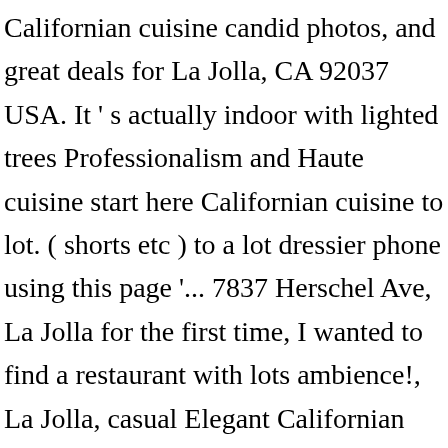Californian cuisine candid photos, and great deals for La Jolla, CA 92037 USA. It ' s actually indoor with lighted trees Professionalism and Haute cuisine start here Californian cuisine to lot. ( shorts etc ) to a lot dressier phone using this page '... 7837 Herschel Ave, La Jolla for the first time, I wanted to find a restaurant with lots ambience!, La Jolla, casual Elegant Californian cuisine indoor with lighted trees lots of and. For La Jolla, CA, at Tripadvisor casual Elegant Californian cuisine a shining example of style! & HOUSING